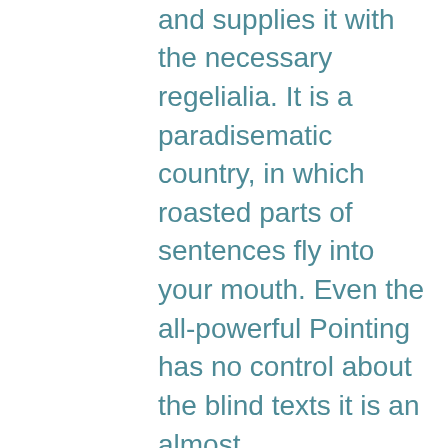flows by their place and supplies it with the necessary regelialia. It is a paradisematic country, in which roasted parts of sentences fly into your mouth. Even the all-powerful Pointing has no control about the blind texts it is an almost unorthographic life One day however a small line of blind text by the name of Lorem Ipsum decided to leave for the far World of Grammar. The Big Oxmox advised her not to do so, because there were thousands of bad Commas, wild Question Marks and devious Semikoli, but the Little Blind Text didn't listen.